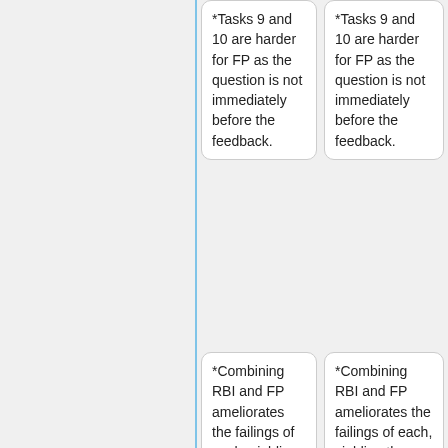*Tasks 9 and 10 are harder for FP as the question is not immediately before the feedback.
*Tasks 9 and 10 are harder for FP as the question is not immediately before the feedback.
*Combining RBI and FP ameliorates the failings of each, yielding the best overall results
*Combining RBI and FP ameliorates the failings of each, yielding the best overall results
==Conclusion and future work==
One of the most interesting aspects of the results in this paper is that FP works at all without any